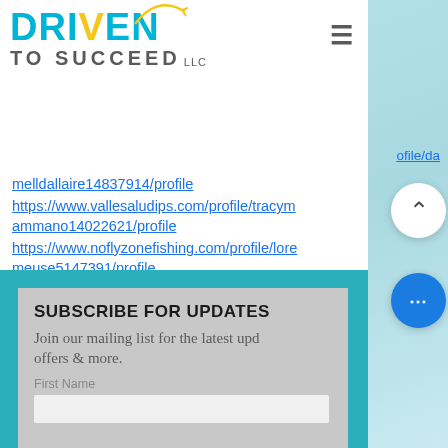[Figure (logo): Driven To Succeed LLC logo with teal DRIVEN text and hamburger menu icon]
ofile/da
melldallaire14837914/profile
https://www.vallesaludips.com/profile/tracymammano14022621/profile
https://www.noflyzonefishing.com/profile/loremeuse5147391/profile
https://www.hd-aesthetic.co.uk/profile/francesleverton9015715/profile
SUBSCRIBE FOR UPDATES
Join our mailing list for the latest updates, offers & more.
First Name